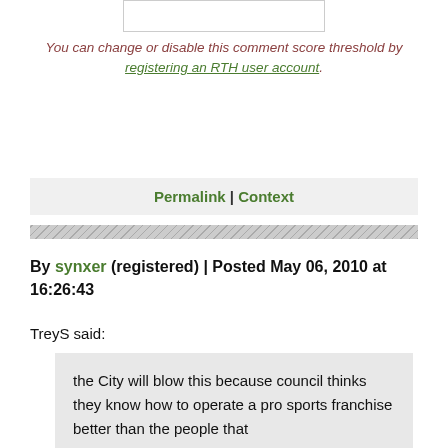[Figure (other): Input box at top of page]
You can change or disable this comment score threshold by registering an RTH user account.
Permalink | Context
By synxer (registered) | Posted May 06, 2010 at 16:26:43
TreyS said:
the City will blow this because council thinks they know how to operate a pro sports franchise better than the people that